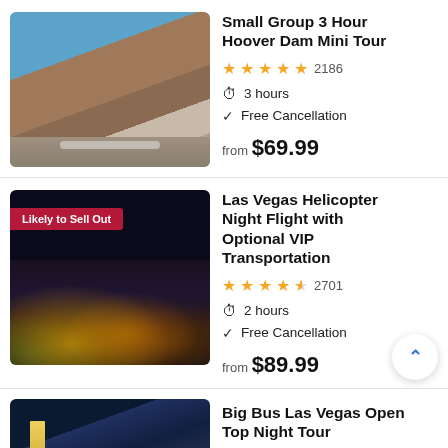[Figure (photo): Aerial photo of Hoover Dam with blue reservoir water and rocky canyon walls and bridge]
Small Group 3 Hour Hoover Dam Mini Tour
★★★★★ 2186
🕐 3 hours
✓ Free Cancellation
from $69.99
[Figure (photo): Helicopter flying over Las Vegas Strip at night with city lights below; badge says Likely to Sell Out]
Las Vegas Helicopter Night Flight with Optional VIP Transportation
★★★★½ 2701
🕐 2 hours
✓ Free Cancellation
from $89.99
[Figure (photo): Partial photo of Big Bus Las Vegas night scene]
Big Bus Las Vegas Open Top Night Tour